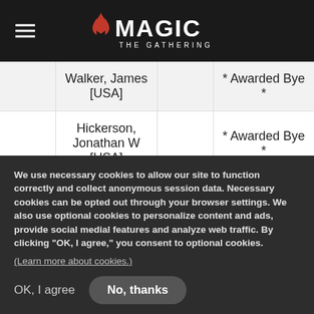Magic: The Gathering
|  | Player |  | Opponent |
| --- | --- | --- | --- |
|  | Walker, James [USA] |  | * Awarded Bye * |
|  | Hickerson, Jonathan W [USA] |  | * Awarded Bye * |
|  | Chapin, Patrick A [USA] |  | * Awarded Bye * |
|  | Ferguson, Beau |  | * Awarded Bye * |
We use necessary cookies to allow our site to function correctly and collect anonymous session data. Necessary cookies can be opted out through your browser settings. We also use optional cookies to personalize content and ads, provide social medial features and analyze web traffic. By clicking “OK, I agree,” you consent to optional cookies.
(Learn more about cookies.)